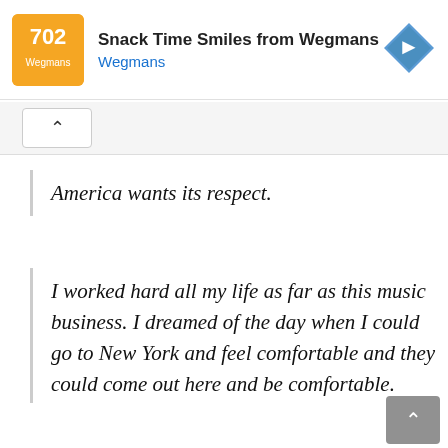[Figure (screenshot): Advertisement banner for 'Snack Time Smiles from Wegmans' with orange logo, title text, 'Wegmans' subtitle in blue, and a blue diamond navigation icon on the right.]
America wants its respect.
I worked hard all my life as far as this music business. I dreamed of the day when I could go to New York and feel comfortable and they could come out here and be comfortable.